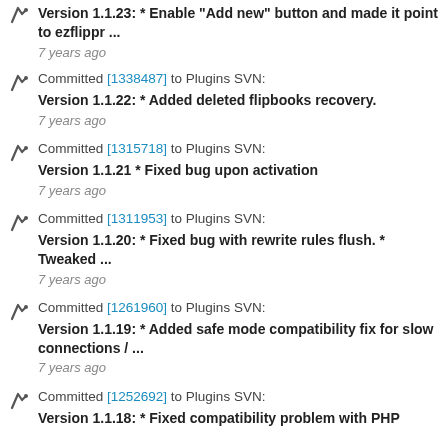Committed [1338487] to Plugins SVN: Version 1.1.22: * Added deleted flipbooks recovery. 7 years ago
Committed [1315718] to Plugins SVN: Version 1.1.21 * Fixed bug upon activation 7 years ago
Committed [1311953] to Plugins SVN: Version 1.1.20: * Fixed bug with rewrite rules flush. * Tweaked ... 7 years ago
Committed [1261960] to Plugins SVN: Version 1.1.19: * Added safe mode compatibility fix for slow connections / ... 7 years ago
Committed [1252692] to Plugins SVN: Version 1.1.18: * Fixed compatibility problem with PHP